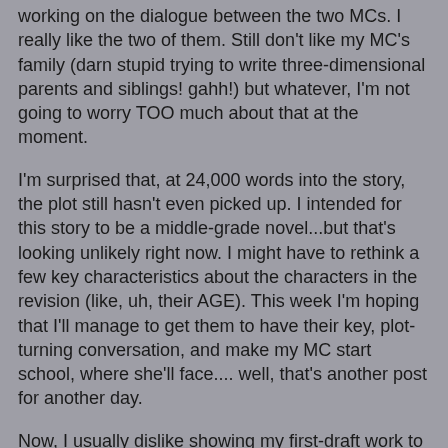working on the dialogue between the two MCs. I really like the two of them. Still don't like my MC's family (darn stupid trying to write three-dimensional parents and siblings! gahh!) but whatever, I'm not going to worry TOO much about that at the moment.
I'm surprised that, at 24,000 words into the story, the plot still hasn't even picked up. I intended for this story to be a middle-grade novel...but that's looking unlikely right now. I might have to rethink a few key characteristics about the characters in the revision (like, uh, their AGE). This week I'm hoping that I'll manage to get them to have their key, plot-turning conversation, and make my MC start school, where she'll face.... well, that's another post for another day.
Now, I usually dislike showing my first-draft work to anyone, but as many people seem to be making exceptions for NaNo, and because I know you're all so ridiculously curious to see how my fiction writing is compared to my blog-post writing *scoffs*, here is a short scene, the second conversation that my two MCs, 12-year-old Darcy and 14-year-old Danny, have together.